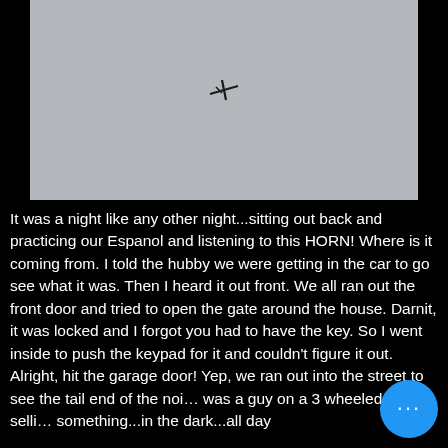[Figure (photo): A gray overcast sky with a small dark object (appears to be a bird or small aircraft) visible near the center of the image.]
It was a night like any other night...sitting out back and practicing our Espanol and listening to this HORN! Where is it coming from. I told the hubby we were getting in the car to go see what it was. Then I heard it out front. We all ran out the front door and tried to open the gate around the house. Darnit, it was locked and I forgot you had to have the key. So I went inside to push the keypad for it and couldn't figure it out. Alright, hit the garage door! Yep, we ran out into the street to see the tail end of the noi… was a guy on a 3 wheeled bike selli… something...in the dark...all day